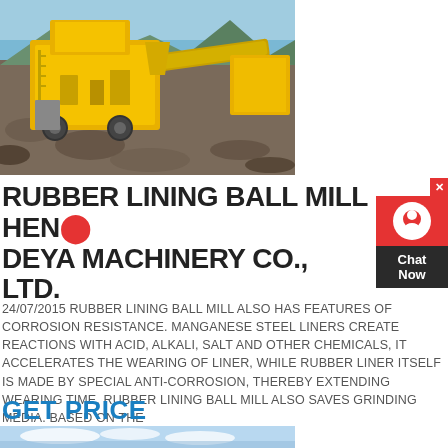[Figure (photo): Yellow heavy mining crusher/ball mill machine on a gravel/rock site with mountains in background]
RUBBER LINING BALL MILL HEN DEYA MACHINERY CO., LTD.
24/07/2015 RUBBER LINING BALL MILL ALSO HAS FEATURES OF CORROSION RESISTANCE. MANGANESE STEEL LINERS CREATE REACTIONS WITH ACID, ALKALI, SALT AND OTHER CHEMICALS, IT ACCELERATES THE WEARING OF LINER, WHILE RUBBER LINER ITSELF IS MADE BY SPECIAL ANTI-CORROSION, THEREBY EXTENDING WEARING TIME. RUBBER LINING BALL MILL ALSO SAVES GRINDING MEDIA. BASED ON THE
GET PRICE
[Figure (photo): Blue sky with clouds, partial view at bottom of page]